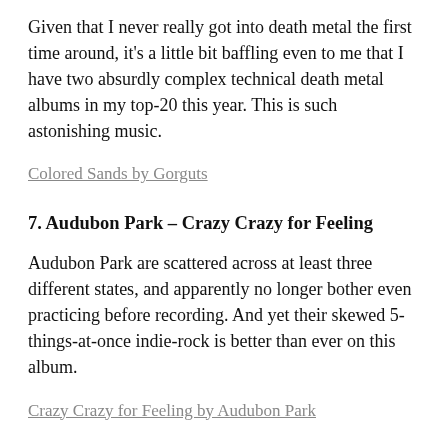Given that I never really got into death metal the first time around, it's a little bit baffling even to me that I have two absurdly complex technical death metal albums in my top-20 this year. This is such astonishing music.
Colored Sands by Gorguts
7. Audubon Park – Crazy Crazy for Feeling
Audubon Park are scattered across at least three different states, and apparently no longer bother even practicing before recording. And yet their skewed 5-things-at-once indie-rock is better than ever on this album.
Crazy Crazy for Feeling by Audubon Park
8. Lorde – Pure Heroine
You can be cynical & call it electro-pop for middle aged white former rock critic dudes. Or you can be non-cynical & just enjoy her amazing voice.